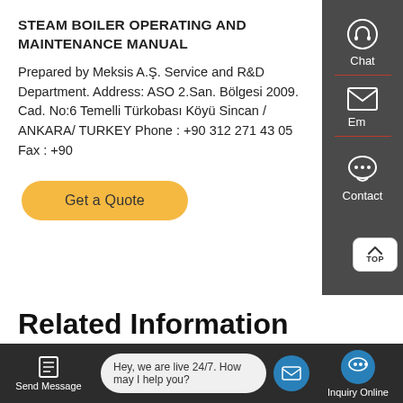STEAM BOILER OPERATING AND MAINTENANCE MANUAL
Prepared by Meksis A.Ş. Service and R&D Department. Address: ASO 2.San. Bölgesi 2009. Cad. No:6 Temelli Türkobası Köyü Sincan / ANKARA/ TURKEY Phone : +90 312 271 43 05 Fax : +90
[Figure (other): Get a Quote button - yellow/orange rounded rectangle button]
[Figure (other): Right sidebar with Chat, Email, and Contact icons on dark grey background]
[Figure (other): TOP button - small white rectangle with up arrow and TOP label]
Related Information
Steam Boiler Optimization...rs
[Figure (other): Bottom bar with Send Message, live chat bubble (Hey, we are live 24/7. How may I help you?), mail circle, and Inquiry Online button]